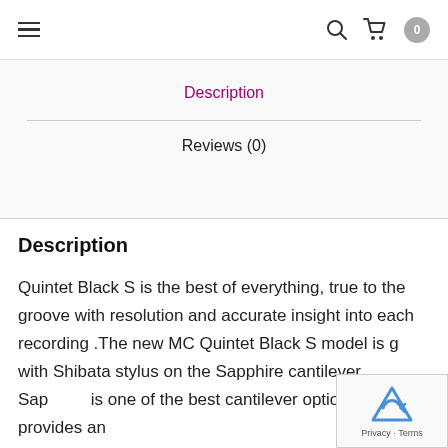≡  [search icon]  [cart icon]  0
Description
Reviews (0)
Description
Quintet Black S is the best of everything, true to the groove with resolution and accurate insight into each recording .The new MC Quintet Black S model is gr with Shibata stylus on the Sapphire cantilever. Sap is one of the best cantilever options that provides an